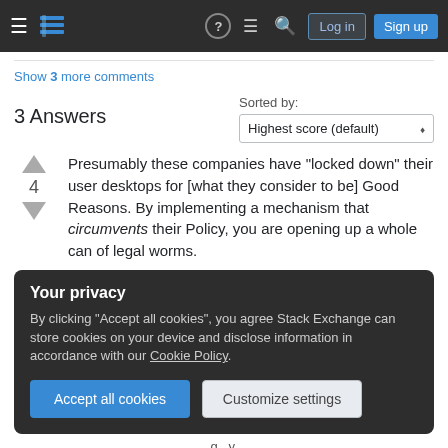Stack Exchange navigation bar with Log in and Sign up buttons
Show 3 more comments
3 Answers
Sorted by: Highest score (default)
Presumably these companies have "locked down" their user desktops for [what they consider to be] Good Reasons. By implementing a mechanism that circumvents their Policy, you are opening up a whole can of legal worms.
Your privacy
By clicking "Accept all cookies", you agree Stack Exchange can store cookies on your device and disclose information in accordance with our Cookie Policy.